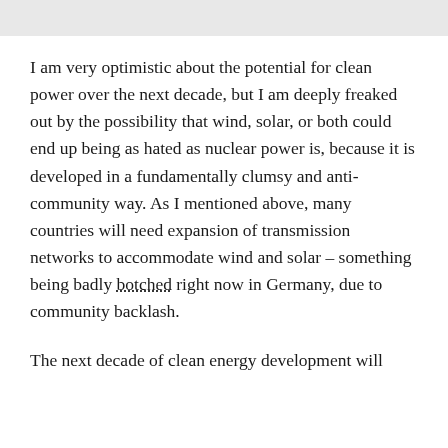I am very optimistic about the potential for clean power over the next decade, but I am deeply freaked out by the possibility that wind, solar, or both could end up being as hated as nuclear power is, because it is developed in a fundamentally clumsy and anti-community way. As I mentioned above, many countries will need expansion of transmission networks to accommodate wind and solar – something being badly botched right now in Germany, due to community backlash.
The next decade of clean energy development will